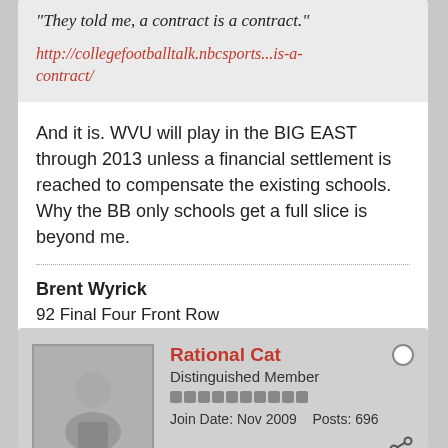"They told me, a contract is a contract."
http://collegefootballtalk.nbcsports...is-a-contract/
And it is. WVU will play in the BIG EAST through 2013 unless a financial settlement is reached to compensate the existing schools. Why the BB only schools get a full slice is beyond me.
Brent Wyrick
92 Final Four Front Row
@LobotC2DFW
Rational Cat
Distinguished Member
Join Date: Nov 2009    Posts: 696